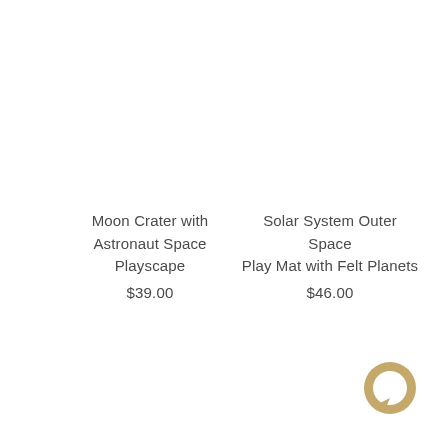Moon Crater with Astronaut Space Playscape
$39.00
Solar System Outer Space Play Mat with Felt Planets
$46.00
[Figure (logo): Chat bubble icon in tan/gold color, circular shape with a small notch at bottom left]